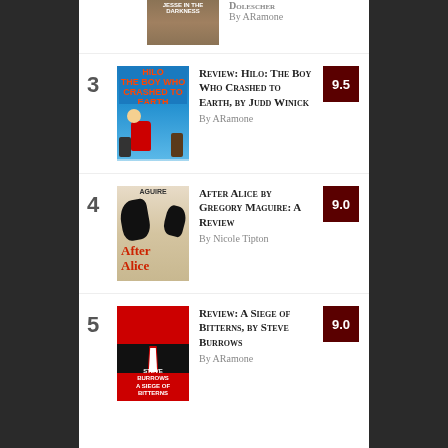By ARamone
3 Review: Hilo: The Boy Who Crashed to Earth, by Judd Winick — By ARamone — 9.5
4 After Alice by Gregory Maguire: A Review — By Nicole Tipton — 9.0
5 Review: A Siege of Bitterns, by Steve Burrows — By ARamone — 9.0